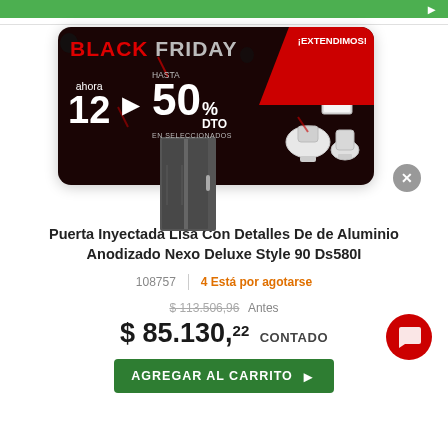[Figure (screenshot): Black Friday promotional banner popup showing 'ahora 12' installments and up to 50% DTO discount on selected items, with red ribbon saying ¡EXTENDIMOS!, over a product image of a door]
Puerta Inyectada Lisa Con Detalles De de Aluminio Anodizado Nexo Deluxe Style 90 Ds580I
108757 | 4 Está por agotarse
$ 113.506,96 Antes
$ 85.130,22 CONTADO
AGREGAR AL CARRITO